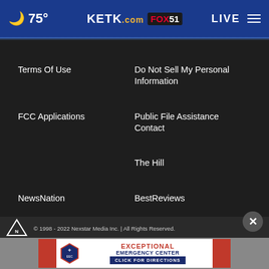75° KETK.com FOX51 LIVE
Terms Of Use
Do Not Sell My Personal Information
FCC Applications
Public File Assistance Contact
The Hill
NewsNation
BestReviews
Content Licensing
Nexstar Digital
© 1998 - 2022 Nexstar Media Inc. | All Rights Reserved.
[Figure (infographic): Exceptional Emergency Center - Click For Directions advertisement banner]